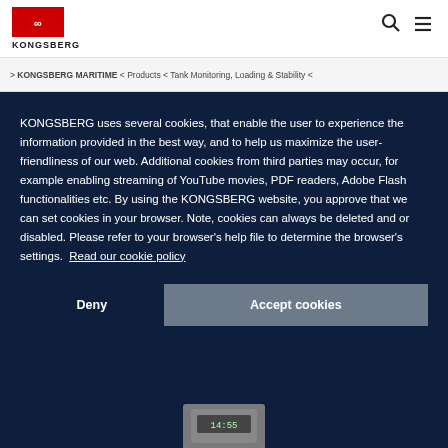KONGSBERG
> KONGSBERG MARITIME < Products < Tank Monitoring, Loading & Stability <
KONGSBERG uses several cookies, that enable the user to experience the information provided in the best way, and to help us maximize the user-friendliness of our web. Additional cookies from third parties may occur, for example enabling streaming of YouTube movies, PDF readers, Adobe Flash functionalities etc. By using the KONGSBERG website, you approve that we can set cookies in your browser. Note, cookies can always be deleted and or disabled. Please refer to your browser's help file to determine the browser's settings. Read our cookie policy
Deny
Accept cookies
[Figure (photo): Product image of a tank monitoring device at the bottom of the page]